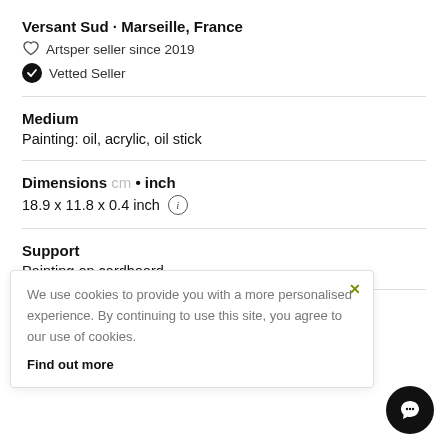Versant Sud · Marseille, France
Artsper seller since 2019
Vetted Seller
Medium
Painting: oil, acrylic, oil stick
Dimensions cm • inch
18.9 x 11.8 x 0.4 inch
Support
Painting on cardboard
We use cookies to provide you with a more personalised experience. By continuing to use this site, you agree to our use of cookies.
Find out more
20.5 x 13.8 x 2 inch